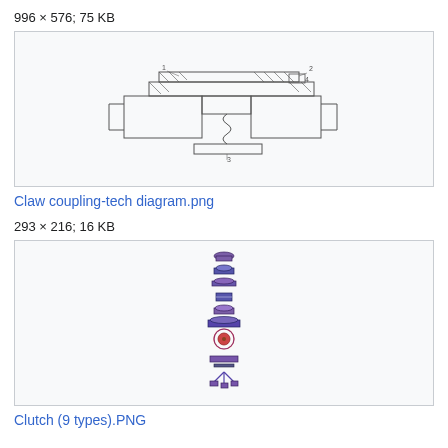996 × 576; 75 KB
[Figure (engineering-diagram): Claw coupling technical cross-section diagram showing internal components with numbered callouts 1-5, hatching patterns indicating cut sections]
Claw coupling-tech diagram.png
293 × 216; 16 KB
[Figure (engineering-diagram): Clutch (9 types) exploded diagram showing 9 different clutch types stacked vertically, with colored components in purple, red, and blue]
Clutch (9 types).PNG